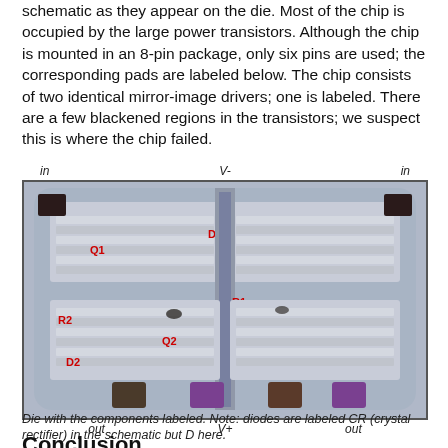schematic as they appear on the die. Most of the chip is occupied by the large power transistors. Although the chip is mounted in an 8-pin package, only six pins are used; the corresponding pads are labeled below. The chip consists of two identical mirror-image drivers; one is labeled. There are a few blackened regions in the transistors; we suspect this is where the chip failed.
[Figure (photo): Die photograph with components labeled in red: Q1, Q2 (transistors), D1, D2 (diodes/crystal rectifiers), R1, R2 (resistors). Pin labels around the image: 'in' top-left and top-right, 'V-' top-center, 'out' bottom-left and bottom-right, 'V+' bottom-center.]
Die with the components labeled. Note: diodes are labeled CR (crystal rectifier) in the schematic but D here.
Conclusion